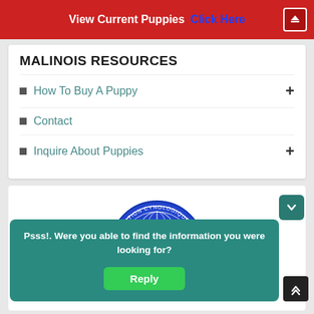View Current Puppies  Click Here
MALINOIS RESOURCES
How To Buy A Puppy
Contact
Inquire About Puppies
[Figure (logo): FCI (Fédération Cynologique Internationale) circular badge/seal with globe and text]
Psss!. Were you able to find the information you were looking for?
Reply